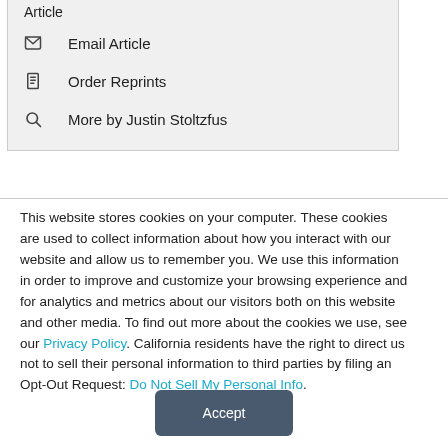Article
Email Article
Order Reprints
More by Justin Stoltzfus
This website stores cookies on your computer. These cookies are used to collect information about how you interact with our website and allow us to remember you. We use this information in order to improve and customize your browsing experience and for analytics and metrics about our visitors both on this website and other media. To find out more about the cookies we use, see our Privacy Policy. California residents have the right to direct us not to sell their personal information to third parties by filing an Opt-Out Request: Do Not Sell My Personal Info.
Accept